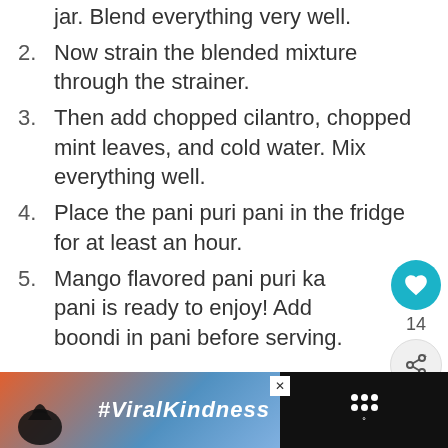jar. Blend everything very well.
2. Now strain the blended mixture through the strainer.
3. Then add chopped cilantro, chopped mint leaves, and cold water. Mix everything well.
4. Place the pani puri pani in the fridge for at least an hour.
5. Mango flavored pani puri ka pani is ready to enjoy! Add boondi in pani before serving.
[Figure (infographic): What's Next banner with Mango Lassi thumbnail]
[Figure (photo): Advertisement banner with heart hands silhouette and #ViralKindness text]